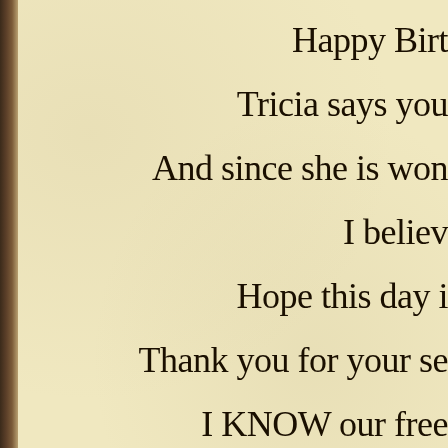Happy Birt...
Tricia says you...
And since she is won...
I believ...
Hope this day i...
Thank you for your se...
I KNOW our free...
And you have paid...
These wishes are co...